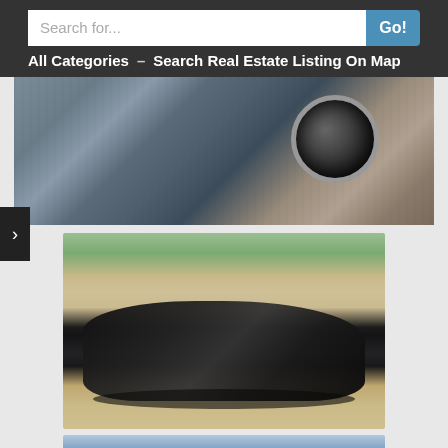Search for...   Go!   All Categories - Search Real Estate Listing On Map
[Figure (photo): Close-up photo of a car exhaust pipe and carbon fiber body panel detail, gray/steel tones]
[Figure (photo): Full overhead-front view of a dark black Aston Martin sports car on a gravel driveway with greenery in background]
[Figure (photo): Partial view of a car or scene at the bottom, outdoor setting with sky and stone wall]